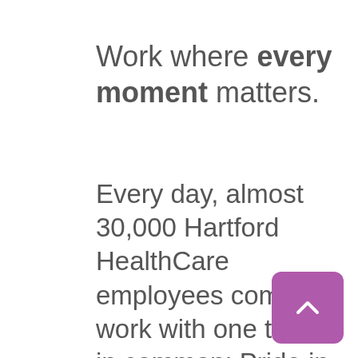Work where every moment matters.
Every day, almost 30,000 Hartford HealthCare employees come to work with one thing in common: Pride in what we do, knowing every moment matters here.  We invite you to become part of Connecticut's most comprehensive healthcare